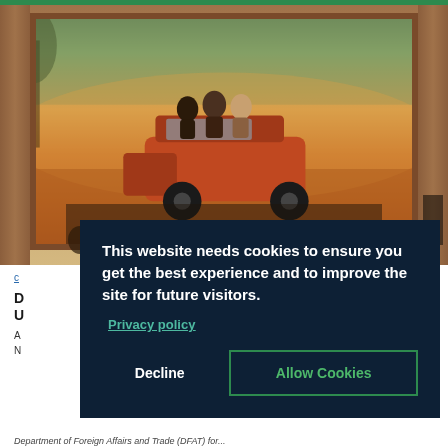[Figure (photo): A large framed photograph or screen displayed on a wooden wall, showing people sitting on top of a red/orange car in an outback Australian landscape with dust and trees. Below the framed image, an audience of people can be seen seated. A person is visible on the far right side.]
This website needs cookies to ensure you get the best experience and to improve the site for future visitors.
Privacy policy
Decline
Allow Cookies
Department of Foreign Affairs and Trade (DFAT) for...